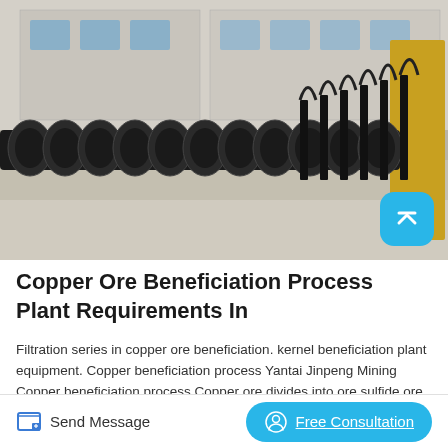[Figure (photo): Outdoor industrial scene showing a long row of large black spiral/helical conveyor or mixing equipment lined up on a concrete surface, with a factory building visible in the background.]
Copper Ore Beneficiation Process Plant Requirements In
Filtration series in copper ore beneficiation. kernel beneficiation plant equipment. Copper beneficiation process Yantai Jinpeng Mining Copper beneficiation process Copper ore divides into ore sulfide,ore oxide and mixing ore according to its oxide rate. The main process
Send Message
Free Consultation